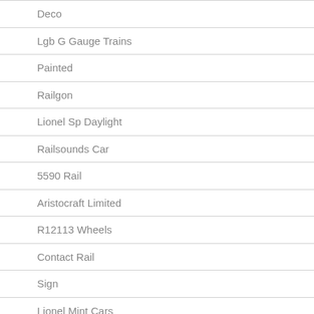Deco
Lgb G Gauge Trains
Painted
Railgon
Lionel Sp Daylight
Railsounds Car
5590 Rail
Aristocraft Limited
R12113 Wheels
Contact Rail
Sign
Lionel Mint Cars